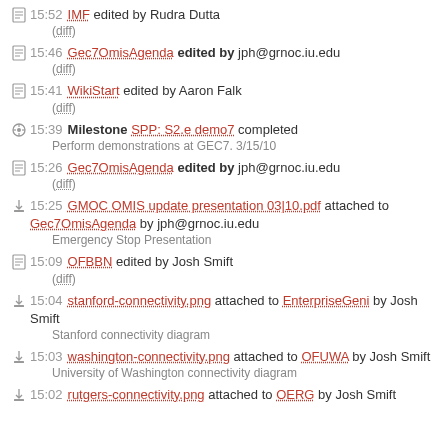15:52 IMF edited by Rudra Dutta (diff)
15:46 Gec7OmisAgenda edited by jph@grnoc.iu.edu (diff)
15:41 WikiStart edited by Aaron Falk (diff)
15:39 Milestone SPP: S2.e demo7 completed Perform demonstrations at GEC7. 3/15/10
15:26 Gec7OmisAgenda edited by jph@grnoc.iu.edu (diff)
15:25 GMOC OMIS update presentation 03|10.pdf attached to Gec7OmisAgenda by jph@grnoc.iu.edu Emergency Stop Presentation
15:09 OFBBN edited by Josh Smift (diff)
15:04 stanford-connectivity.png attached to EnterpriseGeni by Josh Smift Stanford connectivity diagram
15:03 washington-connectivity.png attached to OFUWA by Josh Smift University of Washington connectivity diagram
15:02 rutgers-connectivity.png attached to OERG by Josh Smift